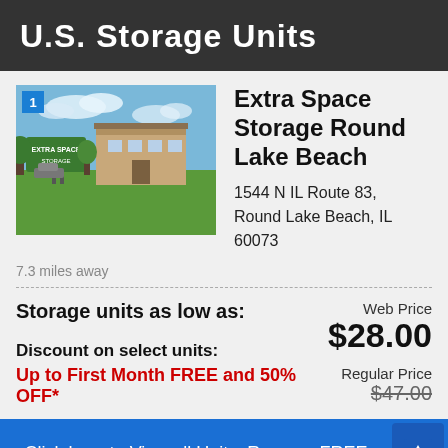U.S. Storage Units
[Figure (photo): Exterior photo of Extra Space Storage facility with green sign and lawn, blue sky in background. Badge showing number 1 in top left corner.]
Extra Space Storage Round Lake Beach
1544 N IL Route 83, Round Lake Beach, IL  60073
7.3 miles away
Storage units as low as:
Web Price $28.00
Discount on select units:
Up to First Month FREE and 50% OFF*
Regular Price $47.00
Click here to View all Units, Reserve FREE